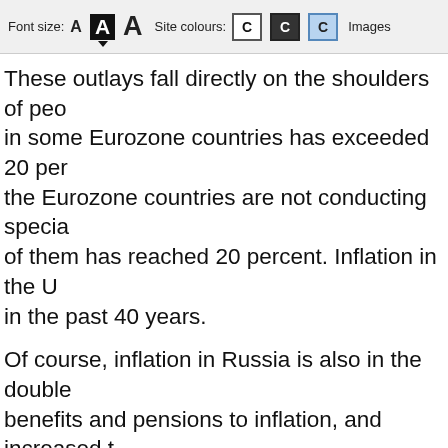Font size: A A A   Site colours: C C C   Images
These outlays fall directly on the shoulders of peo- in some Eurozone countries has exceeded 20 per- the Eurozone countries are not conducting specia- of them has reached 20 percent. Inflation in the U in the past 40 years.
Of course, inflation in Russia is also in the double benefits and pensions to inflation, and increased t protecting the most vulnerable groups of the popu- helped people keep their savings in the Russian b
Businesspeople know, of course, that a high key r a boon for the people in most cases. They have re due to higher interest rates.
This however is different from the EU…